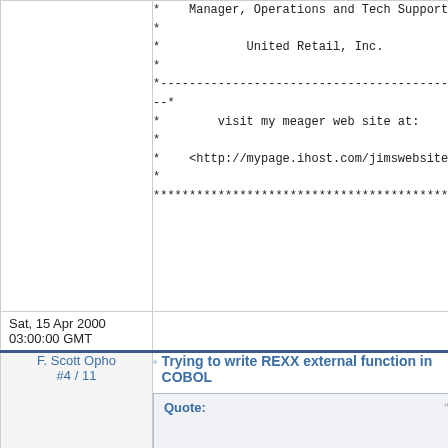* Manager, Operations and Tech Support *
* United Retail, Inc. *
*--------------------------------------------*
* visit my meager web site at: *
* <http://mypage.ihost.com/jimswebsite/> *
*******************************************
Sat, 15 Apr 2000 03:00:00 GMT
F. Scott Opho
#4 / 11
Trying to write REXX external function in COBOL
Quote:
> >I'm trying to write a REXX external function in COBOL,
> Why would anyone who knows REXX stoop to 'writing C*B*L'
Reading 'stoop to' as need /want to', I'm very much interested
in your reason, Jim.  And since I don't do Xmas cards anyway,